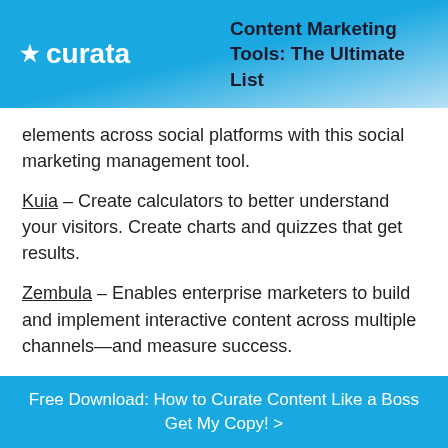★ curata   Content Marketing Tools: The Ultimate List
elements across social platforms with this social marketing management tool.
Kuia – Create calculators to better understand your visitors. Create charts and quizzes that get results.
Zembula – Enables enterprise marketers to build and implement interactive content across multiple channels—and measure success.
Content Marketing Platforms
Curata CMP – Is designed specifically for B2B marketers to drive leads and revenue from content. Key components of
Free Download: How to Curate Content Like a Boss Get My Copy! >